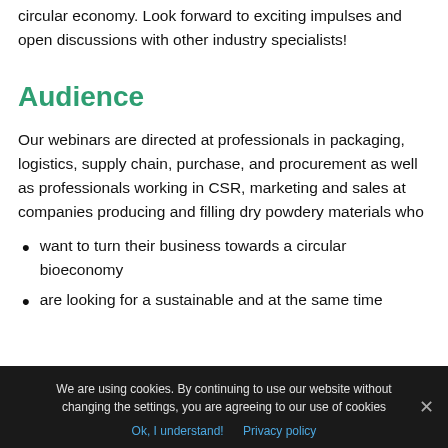circular economy. Look forward to exciting impulses and open discussions with other industry specialists!
Audience
Our webinars are directed at professionals in packaging, logistics, supply chain, purchase, and procurement as well as professionals working in CSR, marketing and sales at companies producing and filling dry powdery materials who
want to turn their business towards a circular bioeconomy
are looking for a sustainable and at the same time
We are using cookies. By continuing to use our website without changing the settings, you are agreeing to our use of cookies
Ok, I understand!   Privacy policy